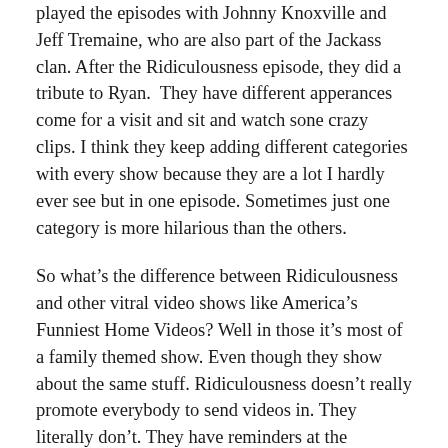played the episodes with Johnny Knoxville and Jeff Tremaine, who are also part of the Jackass clan. After the Ridiculousness episode, they did a tribute to Ryan.  They have different apperances come for a visit and sit and watch sone crazy clips. I think they keep adding different categories with every show because they are a lot I hardly ever see but in one episode. Sometimes just one category is more hilarious than the others.
So what's the difference between Ridiculousness and other vitral video shows like America's Funniest Home Videos? Well in those it's most of a family themed show. Even though they show about the same stuff. Ridiculousness doesn't really promote everybody to send videos in. They literally don't. They have reminders at the beginning and end of the show to not send any videos of people doing any of the stunts they've seen. If you've